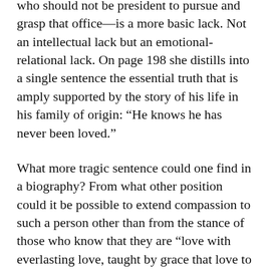who should not be president to pursue and grasp that office—is a more basic lack. Not an intellectual lack but an emotional-relational lack. On page 198 she distills into a single sentence the essential truth that is amply supported by the story of his life in his family of origin: “He knows he has never been loved.”
What more tragic sentence could one find in a biography? From what other position could it be possible to extend compassion to such a person other than from the stance of those who know that they are “love with everlasting love, taught by grace that love to know”? Many can see and despise Trump from a vantage point of superior knowledge or higher morality, but